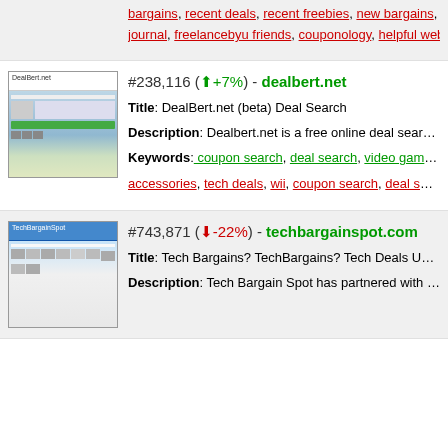bargains, recent deals, recent freebies, new bargains, new c...
journal, freelancebyu friends, couponology, helpful website, c...
[Figure (screenshot): Screenshot of DealBert.net website]
#238,116 (↑+7%) - dealbert.net
Title: DealBert.net (beta) Deal Search
Description: Dealbert.net is a free online deal search engine...
Keywords: coupon search, deal search, video games, xbo...
accessories, tech deals, wii, coupon search, deal search, Dea...
[Figure (screenshot): Screenshot of TechBargainSpot website]
#743,871 (↓-22%) - techbargainspot.com
Title: Tech Bargains? TechBargains? Tech Deals Updated Da...
Description: Tech Bargain Spot has partnered with some of t...